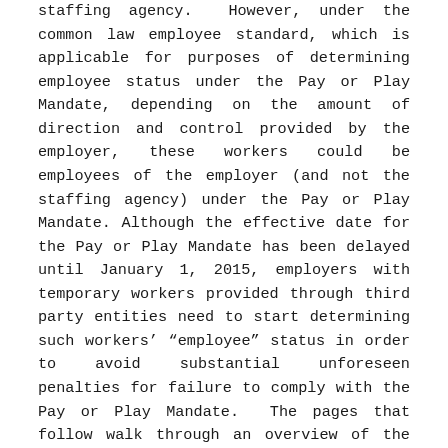staffing agency.  However, under the common law employee standard, which is applicable for purposes of determining employee status under the Pay or Play Mandate, depending on the amount of direction and control provided by the employer, these workers could be employees of the employer (and not the staffing agency) under the Pay or Play Mandate. Although the effective date for the Pay or Play Mandate has been delayed until January 1, 2015, employers with temporary workers provided through third party entities need to start determining such workers' "employee" status in order to avoid substantial unforeseen penalties for failure to comply with the Pay or Play Mandate.  The pages that follow walk through an overview of the Pay or Play Mandate penalty provisions, the importance of proper employee designations, and the risks and penalties associated with mistaken classifications.